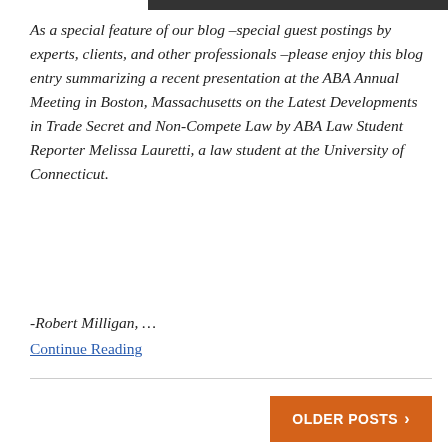[Figure (photo): Partial view of a photo strip at top of page, dark/black image cropped at the edge]
As a special feature of our blog –special guest postings by experts, clients, and other professionals –please enjoy this blog entry summarizing a recent presentation at the ABA Annual Meeting in Boston, Massachusetts on the Latest Developments in Trade Secret and Non-Compete Law by ABA Law Student Reporter Melissa Lauretti, a law student at the University of Connecticut.
-Robert Milligan, …
Continue Reading
OLDER POSTS